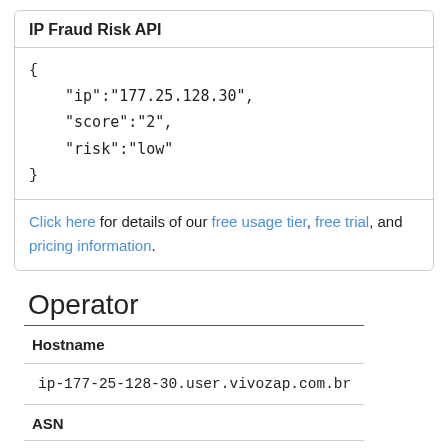IP Fraud Risk API
{
    "ip":"177.25.128.30",
    "score":"2",
    "risk":"low"
}
Click here for details of our free usage tier, free trial, and pricing information.
Operator
| Hostname |
| --- |
| ip-177-25-128-30.user.vivozap.com.br |
| ASN |
| --- |